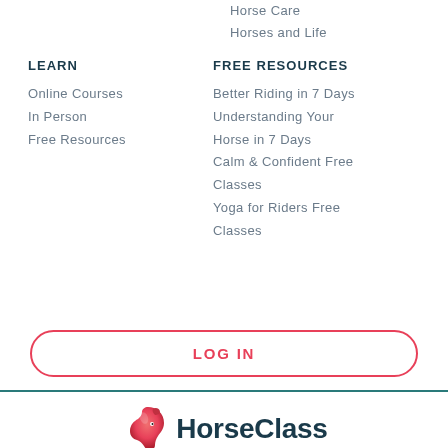Horse Care
Horses and Life
LEARN
FREE RESOURCES
Online Courses
In Person
Free Resources
Better Riding in 7 Days
Understanding Your Horse in 7 Days
Calm & Confident Free Classes
Yoga for Riders Free Classes
LOG IN
[Figure (logo): HorseClass logo with red horse head icon and dark teal HorseClass text]
Privacy Policy | Copyright 2022 HorseClass Inc